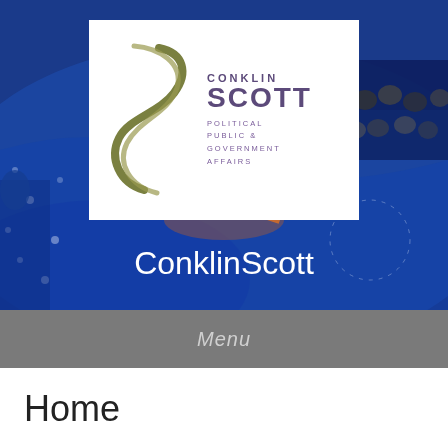[Figure (photo): Hero banner with political convention background photo showing blue draped stage with stars, overlaid with Conklin Scott logo (white box with olive green S-curve mark and purple CONKLIN SCOTT POLITICAL PUBLIC & GOVERNMENT AFFAIRS text) and site title ConklinScott in white text]
ConklinScott
Menu
Home
ConklinScott is a Democratic Political Consulting